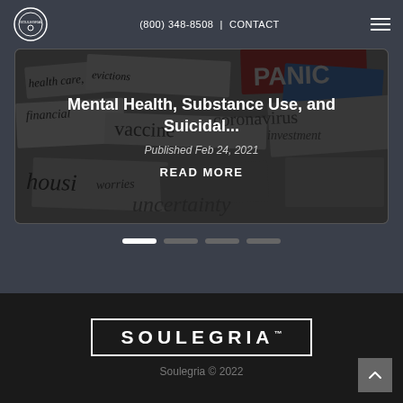(800) 348-8508  |  CONTACT
[Figure (photo): News headlines collage with words: health care, evictions, financial, vaccine, PANIC, coronavirus, housing, worries, investment, uncertainty — dark overlay with article card]
Mental Health, Substance Use, and Suicidal...
Published Feb 24, 2021
READ MORE
[Figure (infographic): Carousel slider dots — 4 dots, first active (white), rest grey]
[Figure (logo): SOULEGRIA logo in white text with trademark symbol inside rectangular border]
Soulegria © 2022